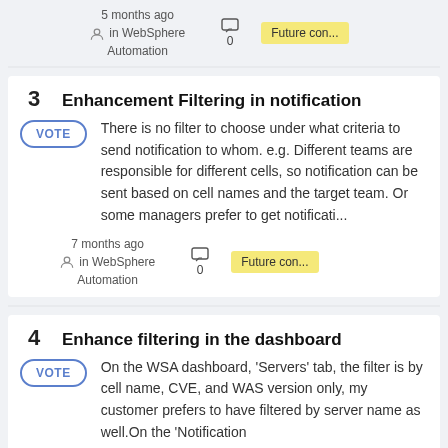5 months ago in WebSphere Automation
0
Future con...
3   Enhancement Filtering in notification
There is no filter to choose under what criteria to send notification to whom. e.g. Different teams are responsible for different cells, so notification can be sent based on cell names and the target team. Or some managers prefer to get notificati...
7 months ago in WebSphere Automation
0
Future con...
4   Enhance filtering in the dashboard
On the WSA dashboard, 'Servers' tab, the filter is by cell name, CVE, and WAS version only, my customer prefers to have filtered by server name as well.On the 'Notification